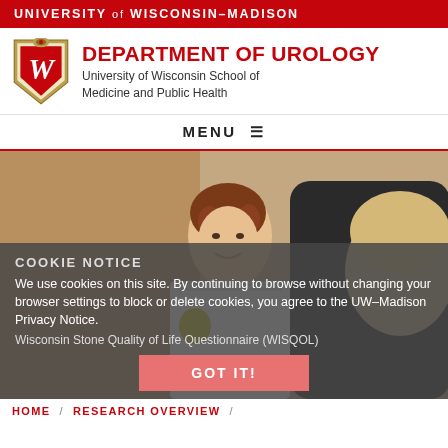UNIVERSITY of WISCONSIN–MADISON
DEPARTMENT OF UROLOGY
University of Wisconsin School of Medicine and Public Health
MENU ≡
[Figure (photo): A female doctor in a white coat holding a yellow item, speaking with a patient whose back of head is visible in the foreground.]
COOKIE NOTICE
We use cookies on this site. By continuing to browse without changing your browser settings to block or delete cookies, you agree to the UW–Madison Privacy Notice.
Wisconsin Stone Quality of Life Questionnaire (WISQOL)
GOT IT!
HOME / RESEARCH OVERVIEW /